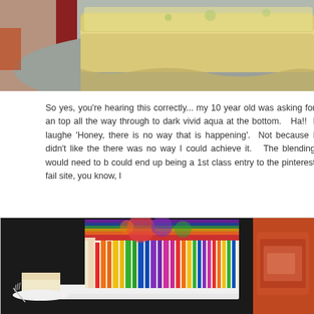[Figure (photo): Close-up photo of a cake slice on a gray plate, showing a pale yellow/green glittery cake top]
So yes, you're hearing this correctly... my 10 year old was asking for an top all the way through to dark vivid aqua at the bottom.   Ha!!  I laughe 'Honey, there is no way that is happening'.  Not because I didn't like the there was no way I could achieve it.  The blending would need to b could end up being a 1st class entry to the pinterest fail site, you know, l
[Figure (photo): Photo of a rectangular cake covered in dripping rainbow-colored icing on a white plate against a dark background, with a slice and fork beside it. A partial photo of another cake on the right edge.]